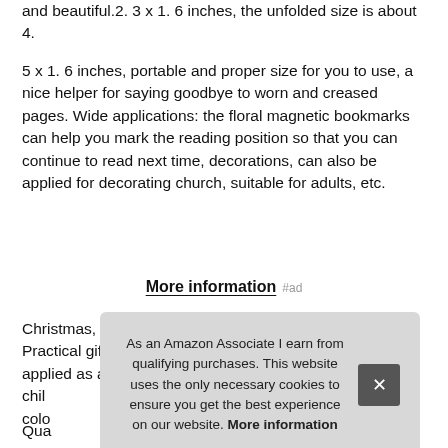and beautiful.2. 3 x 1. 6 inches, the unfolded size is about 4.
5 x 1. 6 inches, portable and proper size for you to use, a nice helper for saying goodbye to worn and creased pages. Wide applications: the floral magnetic bookmarks can help you mark the reading position so that you can continue to read next time, decorations, can also be applied for decorating church, suitable for adults, etc.
More information #ad
Christmas, children, home, office, school and so on. Practical gift: the floral magnetic page markers can be applied as a gift to s... chil... colo...
Qua...
As an Amazon Associate I earn from qualifying purchases. This website uses the only necessary cookies to ensure you get the best experience on our website. More information